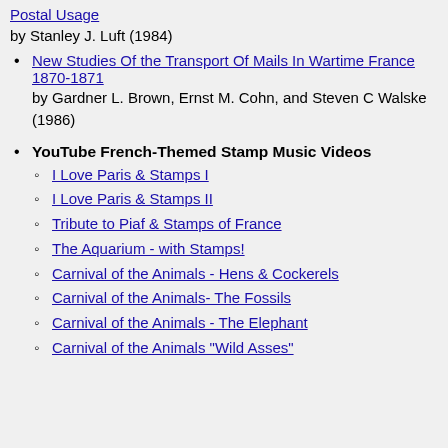Postal Usage by Stanley J. Luft (1984)
New Studies Of the Transport Of Mails In Wartime France 1870-1871 by Gardner L. Brown, Ernst M. Cohn, and Steven C Walske (1986)
YouTube French-Themed Stamp Music Videos
I Love Paris & Stamps I
I Love Paris & Stamps II
Tribute to Piaf & Stamps of France
The Aquarium - with Stamps!
Carnival of the Animals - Hens & Cockerels
Carnival of the Animals- The Fossils
Carnival of the Animals - The Elephant
Carnival of the Animals "Wild Asses"